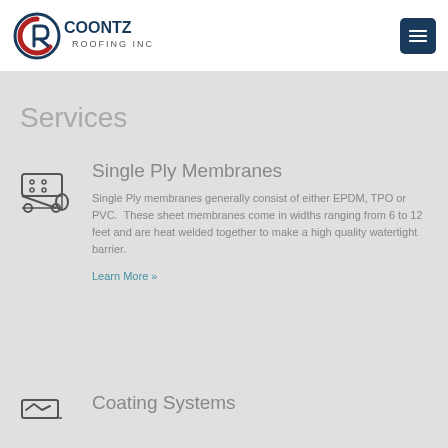[Figure (logo): Coontz Roofing Inc. logo with CR monogram in red, white, and dark blue]
Services
[Figure (illustration): Icon of a rolled roofing membrane on a spool]
Single Ply Membranes
Single Ply membranes generally consist of either EPDM, TPO or PVC.  These sheet membranes come in widths ranging from 6 to 12 feet and are heat welded together to make a high quality watertight barrier.
Learn More »
[Figure (illustration): Icon of a roofing coating system (partially visible)]
Coating Systems